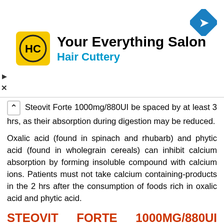[Figure (other): Hair Cuttery advertisement banner with logo (HC in yellow circle), text 'Your Everything Salon Hair Cuttery', and a blue diamond navigation arrow icon]
Steovit Forte 1000mg/880UI be spaced by at least 3 hrs, as their absorption during digestion may be reduced.
Oxalic acid (found in spinach and rhubarb) and phytic acid (found in wholegrain cereals) can inhibit calcium absorption by forming insoluble compound with calcium ions. Patients must not take calcium containing-products in the 2 hrs after the consumption of foods rich in oxalic acid and phytic acid.
STEOVIT FORTE 1000MG/880UI SIDE EFFECTS
sponsored